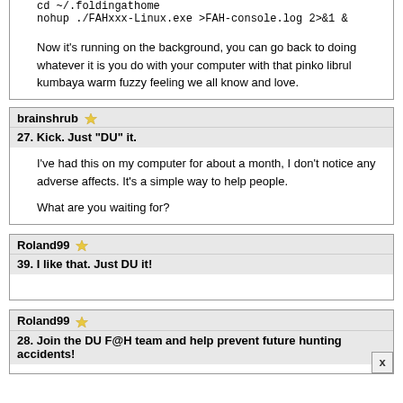cd ~/.foldingathome
nohup ./FAHxxx-Linux.exe >FAH-console.log 2>&1 &

Now it's running on the background, you can go back to doing whatever it is you do with your computer with that pinko librul kumbaya warm fuzzy feeling we all know and love.
brainshrub ☆
27. Kick. Just "DU" it.
I've had this on my computer for about a month, I don't notice any adverse affects. It's a simple way to help people.

What are you waiting for?
Roland99 ☆
39. I like that. Just DU it!
Roland99 ☆
28. Join the DU F@H team and help prevent future hunting accidents!